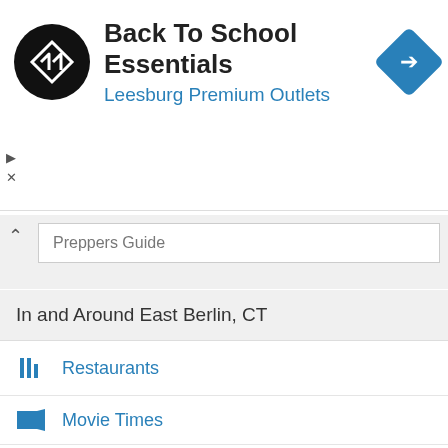[Figure (screenshot): Advertisement banner: Back To School Essentials at Leesburg Premium Outlets with logo and navigation icon]
Preppers Guide
In and Around East Berlin, CT
Restaurants
Movie Times
Car Deals and Guide
Real Estate
Jobs